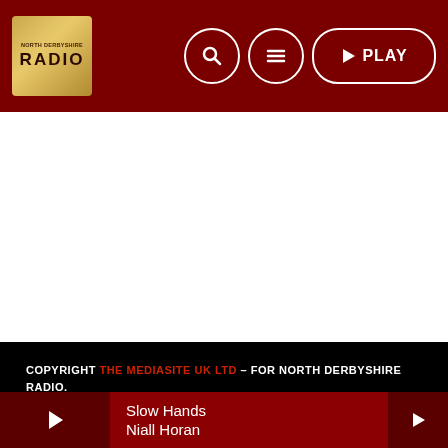[Figure (logo): North Derbyshire Radio gold logo box with radio station branding]
[Figure (other): Website header navigation with search icon, hamburger menu icon, and PLAY button on dark red background]
[Figure (other): White content area, blank]
COPYRIGHT THE MEDIASITE UK LTD – FOR NORTH DERBYSHIRE RADIO.
PUBLIC FILE
CONTACTS
TERMS
PRIVACY POLICY
[Figure (other): Social media icons: Twitter bird and Facebook icon in red on black background]
Slow Hands
Niall Horan